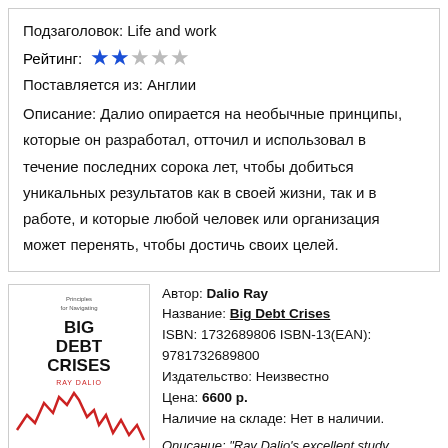Подзаголовок: Life and work
Рейтинг: 2 out of 5 stars
Поставляется из: Англии
Описание: Далио опирается на необычные принципы, которые он разработал, отточил и использовал в течение последних сорока лет, чтобы добиться уникальных результатов как в своей жизни, так и в работе, и которые любой человек или организация может перенять, чтобы достичь своих целей.
[Figure (illustration): Book cover of Big Debt Crises by Ray Dalio showing a red line chart on white background]
Автор: Dalio Ray
Название: Big Debt Crises
ISBN: 1732689806 ISBN-13(EAN): 9781732689800
Издательство: Неизвестно
Цена: 6600 р.
Наличие на складе: Нет в наличии.
Описание: "Ray Dalio's excellent study provides an innovative way of thinking about debt crises and the policy response." - R...